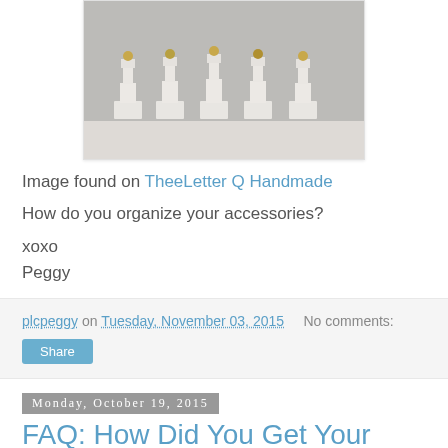[Figure (photo): Five white painted chess-piece-style candlestick holders arranged in a row on a white surface, with metallic tops]
Image found on TheeLetter Q Handmade
How do you organize your accessories?
xoxo
Peggy
plcpeggy on Tuesday, November 03, 2015   No comments:
Share
Monday, October 19, 2015
FAQ: How Did You Get Your Press?